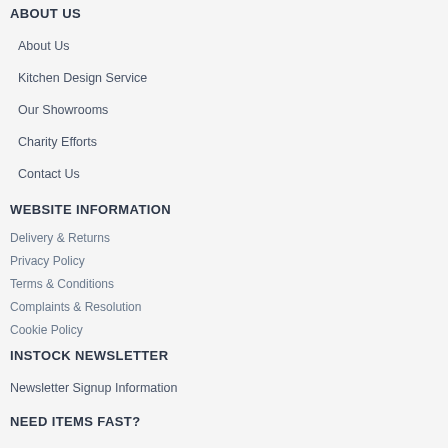ABOUT US
About Us
Kitchen Design Service
Our Showrooms
Charity Efforts
Contact Us
WEBSITE INFORMATION
Delivery & Returns
Privacy Policy
Terms & Conditions
Complaints & Resolution
Cookie Policy
INSTOCK NEWSLETTER
Newsletter Signup Information
NEED ITEMS FAST?